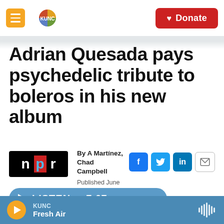KUNC | Donate
Adrian Quesada pays psychedelic tribute to boleros in his new album
By A Martínez, Chad Campbell
Published June 6, 2022 at 2:59 AM MDT
LISTEN • 7:07
KUNC Fresh Air